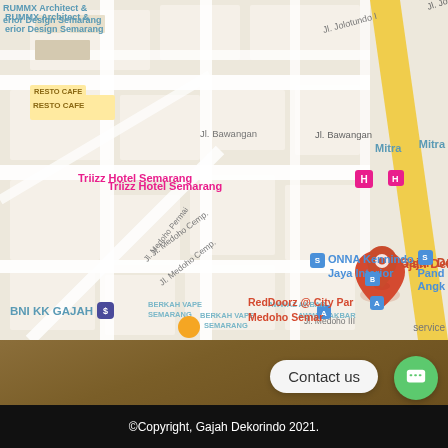[Figure (map): Google Maps screenshot showing Gajah Dekorindo location in Semarang, Indonesia. Nearby landmarks include Triizz Hotel Semarang, ONNA Kennindo Jaya Interior, BNI KK GAJAH, RedDoorz @ City Park Medoho Semarang, and streets Jl. Medoho Cemp., Jl. Medoho III, Jl. Medoho Permai, Jl. Jolotundo I, Jl. Bawangan.]
Contact us
©Copyright, Gajah Dekorindo 2021.